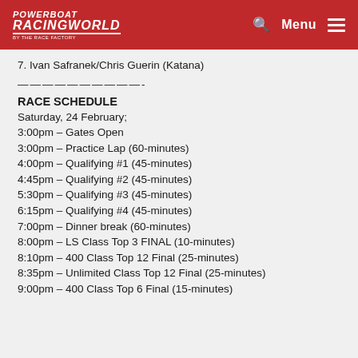POWERBOAT RACINGWORLD
7. Ivan Safranek/Chris Guerin (Katana)
——————————-
RACE SCHEDULE
Saturday, 24 February;
3:00pm – Gates Open
3:00pm – Practice Lap (60-minutes)
4:00pm – Qualifying #1 (45-minutes)
4:45pm – Qualifying #2 (45-minutes)
5:30pm – Qualifying #3 (45-minutes)
6:15pm – Qualifying #4 (45-minutes)
7:00pm – Dinner break (60-minutes)
8:00pm – LS Class Top 3 FINAL (10-minutes)
8:10pm – 400 Class Top 12 Final (25-minutes)
8:35pm – Unlimited Class Top 12 Final (25-minutes)
9:00pm – 400 Class Top 6 Final (15-minutes)